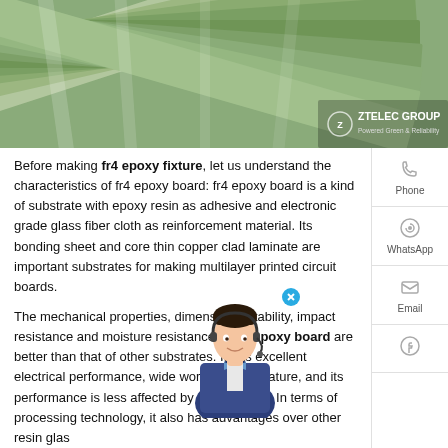[Figure (photo): Green fr4 epoxy boards fanned out, with ZTELEC GROUP logo overlay in bottom right corner]
Before making fr4 epoxy fixture, let us understand the characteristics of fr4 epoxy board: fr4 epoxy board is a kind of substrate with epoxy resin as adhesive and electronic grade glass fiber cloth as reinforcement material. Its bonding sheet and core thin copper clad laminate are important substrates for making multilayer printed circuit boards.
The mechanical properties, dimensional stability, impact resistance and moisture resistance of fr4 epoxy board are better than that of other substrates. It has excellent electrical performance, wide working temperature, and its performance is less affected by environment. In terms of processing technology, it also has advantages over other resin glass cloth substrates.